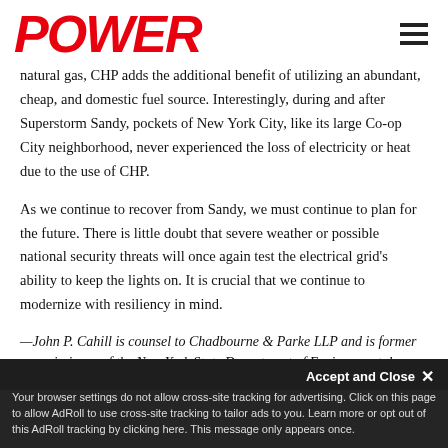POWER
natural gas, CHP adds the additional benefit of utilizing an abundant, cheap, and domestic fuel source. Interestingly, during and after Superstorm Sandy, pockets of New York City, like its large Co-op City neighborhood, never experienced the loss of electricity or heat due to the use of CHP.
As we continue to recover from Sandy, we must continue to plan for the future. There is little doubt that severe weather or possible national security threats will once again test the electrical grid's ability to keep the lights on. It is crucial that we continue to modernize with resiliency in mind.
—John P. Cahill is counsel to Chadbourne & Parke LLP and is former commissioner of the New York State Department of Environmental
Your browser settings do not allow cross-site tracking for advertising. Click on this page to allow AdRoll to use cross-site tracking to tailor ads to you. Learn more or opt out of this AdRoll tracking by clicking here. This message only appears once.